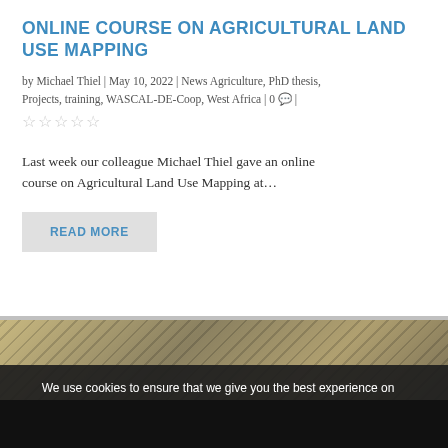ONLINE COURSE ON AGRICULTURAL LAND USE MAPPING
by Michael Thiel | May 10, 2022 | News Agriculture, PhD thesis, Projects, training, WASCAL-DE-Coop, West Africa | 0 💬 | ☆☆☆☆☆
Last week our colleague Michael Thiel gave an online course on Agricultural Land Use Mapping at…
READ MORE
[Figure (photo): Interior photo showing diagonal ceiling/roof structure with striped pattern, beige/tan color tones]
We use cookies to ensure that we give you the best experience on our website. If you continue to use this site we will assume that you are happy with it.